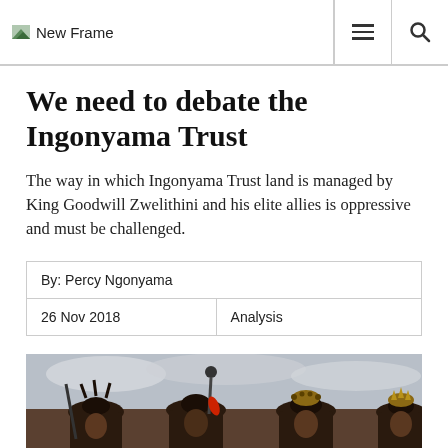New Frame
We need to debate the Ingonyama Trust
The way in which Ingonyama Trust land is managed by King Goodwill Zwelithini and his elite allies is oppressive and must be challenged.
| By: Percy Ngonyama |
| 26 Nov 2018 | Analysis |
[Figure (photo): Group of people in traditional Zulu ceremonial dress and headdresses, photographed outdoors with cloudy sky background.]